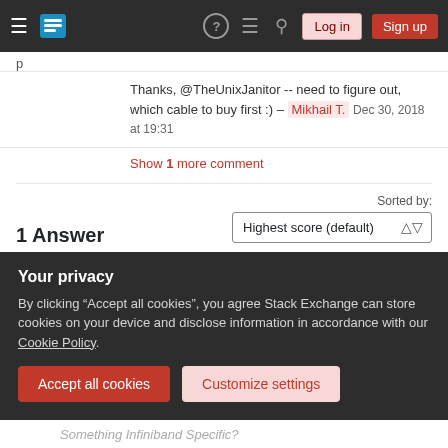Stack Exchange navigation bar with Log in and Sign up buttons
Thanks, @TheUnixJanitor -- need to figure out, which cable to buy first :) – Mikhail T. Dec 30, 2018 at 19:31
Show 1 more comment
1 Answer
Sorted by: Highest score (default)
I don't have answers for 1-3, only some additional information about Infiniband(IB) applications that may help you find the answer. I can answer 4
Your privacy
By clicking "Accept all cookies", you agree Stack Exchange can store cookies on your device and disclose information in accordance with our Cookie Policy.
Accept all cookies   Customize settings